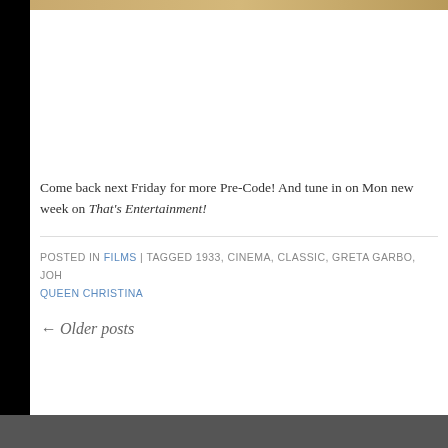[Figure (screenshot): Partial image strip at top of page, appears to be a film poster or still in gold/brown tones]
Come back next Friday for more Pre-Code! And tune in on Mon… new week on That's Entertainment!
POSTED IN FILMS | TAGGED 1933, CINEMA, CLASSIC, GRETA GARBO, JOH… QUEEN CHRISTINA
← Older posts